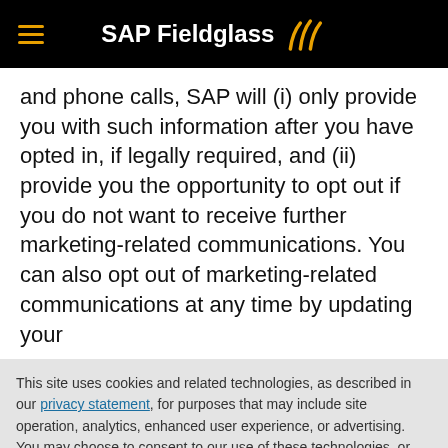SAP Fieldglass
and phone calls, SAP will (i) only provide you with such information after you have opted in, if legally required, and (ii) provide you the opportunity to opt out if you do not want to receive further marketing-related communications. You can also opt out of marketing-related communications at any time by updating your
This site uses cookies and related technologies, as described in our privacy statement, for purposes that may include site operation, analytics, enhanced user experience, or advertising. You may choose to consent to our use of these technologies, or manage your own preferences.
Accept Cookies
More Information
Privacy Policy | Powered by: TrustArc
trade sanctions, and embargoes issued by those